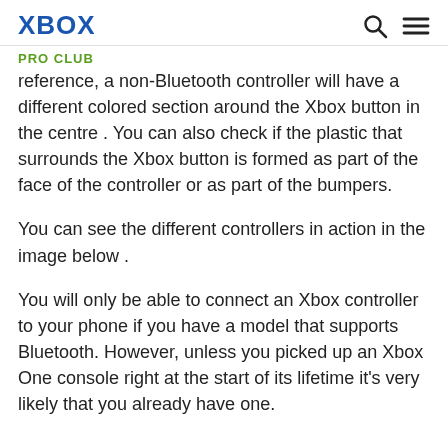XBOX
PRO CLUB
reference, a non-Bluetooth controller will have a different colored section around the Xbox button in the centre . You can also check if the plastic that surrounds the Xbox button is formed as part of the face of the controller or as part of the bumpers.
You can see the different controllers in action in the image below .
You will only be able to connect an Xbox controller to your phone if you have a model that supports Bluetooth. However, unless you picked up an Xbox One console right at the start of its lifetime it's very likely that you already have one.